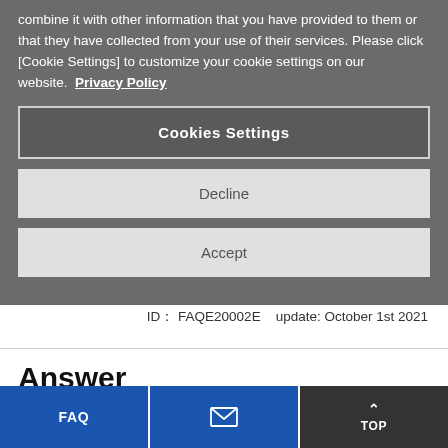combine it with other information that you have provided to them or that they have collected from your use of their services. Please click [Cookie Settings] to customize your cookie settings on our website. Privacy Policy
Cookies Settings
Decline
Accept
ID： FAQE20002E    update: October 1st 2021
Answer
FAQ | [mail icon] | ^ TOP